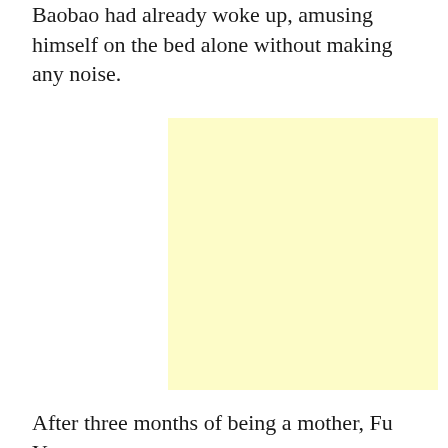Baobao had already woke up, amusing himself on the bed alone without making any noise.
[Figure (illustration): A plain light yellow/cream colored rectangular illustration placeholder.]
After three months of being a mother, Fu Yunruo